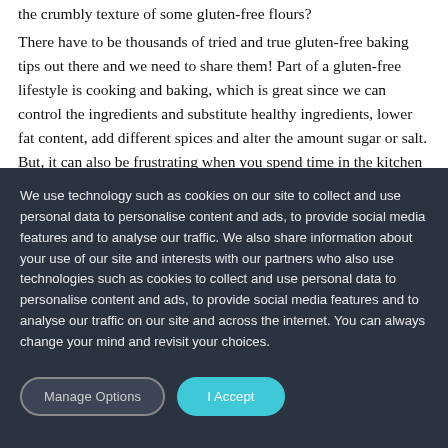the crumbly texture of some gluten-free flours?
There have to be thousands of tried and true gluten-free baking tips out there and we need to share them! Part of a gluten-free lifestyle is cooking and baking, which is great since we can control the ingredients and substitute healthy ingredients, lower fat content, add different spices and alter the amount sugar or salt. But, it can also be frustrating when you spend time in the kitchen
We use technology such as cookies on our site to collect and use personal data to personalise content and ads, to provide social media features and to analyse our traffic. We also share information about your use of our site and interests with our partners who also use technologies such as cookies to collect and use personal data to personalise content and ads, to provide social media features and to analyse our traffic on our site and across the internet. You can always change your mind and revisit your choices.